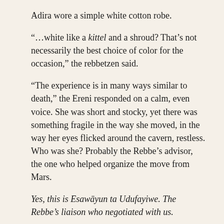Adira wore a simple white cotton robe.
“…white like a kittel and a shroud? That’s not necessarily the best choice of color for the occasion,” the rebbetzen said.
“The experience is in many ways similar to death,” the Ereni responded on a calm, even voice. She was short and stocky, yet there was something fragile in the way she moved, in the way her eyes flicked around the cavern, restless. Who was she? Probably the Rebbe’s advisor, the one who helped organize the move from Mars.
Yes, this is Esawāyun ta Udufayiwe. The Rebbe’s liaison who negotiated with us.
…Thank you. Such a strong mental link, that an unfamiliar person’s lengthy name made it across… Chani was surprised.
The planetmind did not say You’re welcome. Chani refocused